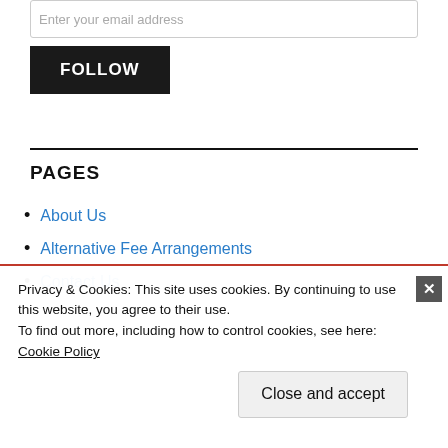Enter your email address
FOLLOW
PAGES
About Us
Alternative Fee Arrangements
Contact Us
Privacy & Cookies: This site uses cookies. By continuing to use this website, you agree to their use.
To find out more, including how to control cookies, see here: Cookie Policy
Close and accept